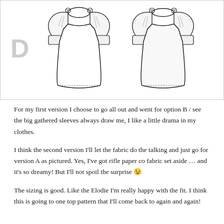[Figure (illustration): Technical flat sketch of a blouse/tunic labeled D, showing front and back views. The garment has puffed/gathered sleeves with cuffs, a round neckline with button detail at shoulders, and a slightly flared body with hemline stitching detail. A large grey letter D appears on the left side.]
For my first version I choose to go all out and went for option B / see the big gathered sleeves always draw me, I like a little drama in my clothes.
I think the second version I'll let the fabric do the talking and just go for version A as pictured. Yes, I've got rifle paper co fabric set aside … and it's so dreamy! But I'll not spoil the surprise 😉
The sizing is good. Like the Elodie I'm really happy with the fit. I think this is going to one top pattern that I'll come back to again and again!